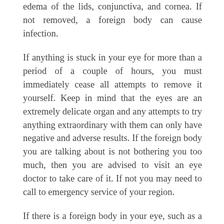edema of the lids, conjunctiva, and cornea. If not removed, a foreign body can cause infection.
If anything is stuck in your eye for more than a period of a couple of hours, you must immediately cease all attempts to remove it yourself. Keep in mind that the eyes are an extremely delicate organ and any attempts to try anything extraordinary with them can only have negative and adverse results. If the foreign body you are talking about is not bothering you too much, then you are advised to visit an eye doctor to take care of it. If not you may need to call to emergency service of your region.
If there is a foreign body in your eye, such as a piece of grit, your eye doctor may try and remove it. They will put anesthetic eye drops in your eye first, in order to numb it and prevent any pain.
If the foreign body is easy to get to, it may be possible to